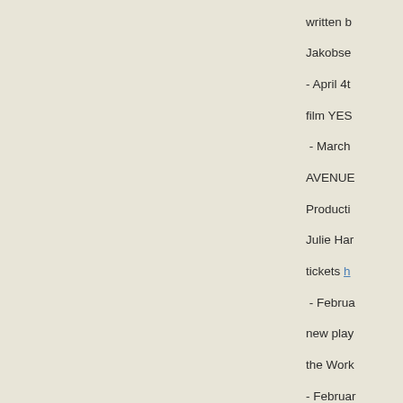written by Jakobse - April 4th film YES - March AVENUE Production Julie Har tickets h - Februa new play the Work - Februar Westche Westche - Januar role of C Theatre I March in